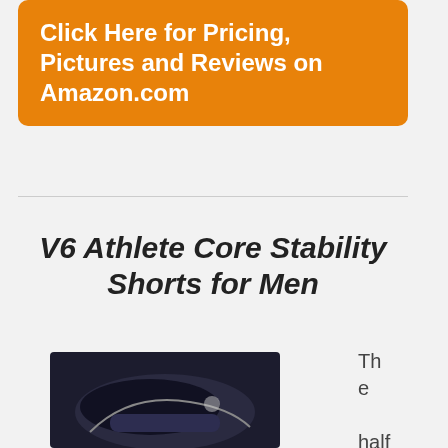[Figure (other): Orange button with text: Click Here for Pricing, Pictures and Reviews on Amazon.com]
V6 Athlete Core Stability Shorts for Men
[Figure (photo): Partial photo of dark athletic shorts/product]
The half-gu